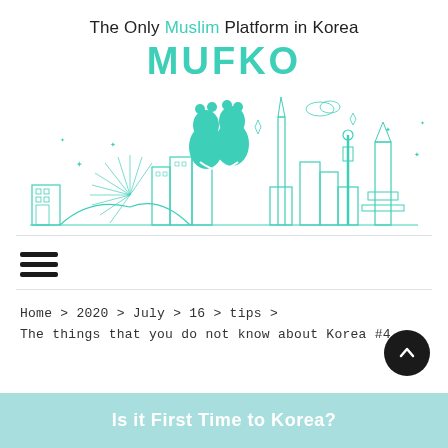The Only Muslim Platform in Korea
MUFKO
[Figure (illustration): Teal/turquoise line-art illustration of the Seoul city skyline with the MUFKO mascot (two figures forming an M shape) in the center, featuring recognizable Seoul landmarks like Lotte Tower, N Seoul Tower, and other skyscrapers.]
[Figure (other): Hamburger menu icon with three horizontal bars]
Home > 2020 > July > 16 > tips >
The things that you do not know about Korea #4
Is it First Time to Korea?